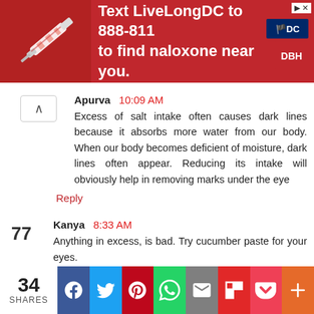[Figure (other): Red advertisement banner: Text LiveLongDC to 888-811 to find naloxone near you. DC and DBH logos shown. Image of naloxone syringe on left.]
Apurva  10:09 AM
Excess of salt intake often causes dark lines because it absorbs more water from our body. When our body becomes deficient of moisture, dark lines often appear. Reducing its intake will obviously help in removing marks under the eye
Reply
77
Kanya  8:33 AM
Anything in excess, is bad. Try cucumber paste for your eyes.
Reply
[Figure (other): Social share bar: 34 SHARES, Facebook, Twitter, Pinterest, WhatsApp, Email, Flipboard, Pocket, Plus buttons]